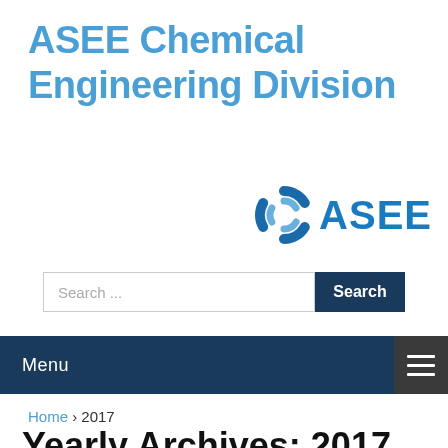ASEE Chemical Engineering Division
[Figure (logo): ASEE logo with circular gear icon in blue and the text ASEE in blue]
Search ...
Menu
Home › 2017
Yearly Archives: 2017